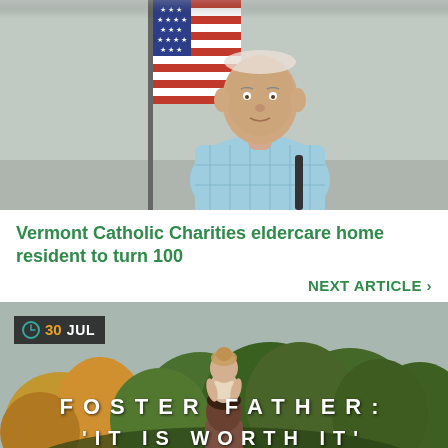[Figure (photo): Elderly man in light blue plaid shirt standing in front of an American flag against a light gray wall]
Vermont Catholic Charities eldercare home resident to turn 100
NEXT ARTICLE >
[Figure (photo): Person carrying a small child on their shoulders in front of a green wooded background, with overlay text reading FOSTER FATHER: 'IT IS WORTH IT']
30 JUL